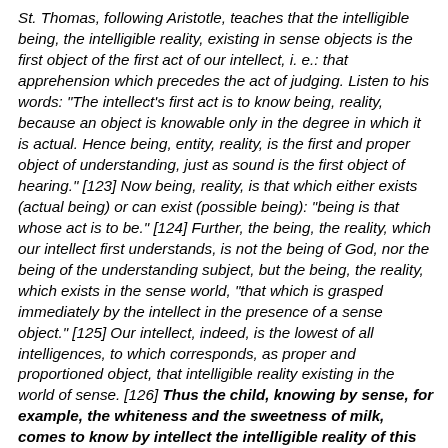St. Thomas, following Aristotle, teaches that the intelligible being, the intelligible reality, existing in sense objects is the first object of the first act of our intellect, i. e.: that apprehension which precedes the act of judging. Listen to his words: "The intellect's first act is to know being, reality, because an object is knowable only in the degree in which it is actual. Hence being, entity, reality, is the first and proper object of understanding, just as sound is the first object of hearing." [123] Now being, reality, is that which either exists (actual being) or can exist (possible being): "being is that whose act is to be." [124] Further, the being, the reality, which our intellect first understands, is not the being of God, nor the being of the understanding subject, but the being, the reality, which exists in the sense world, "that which is grasped immediately by the intellect in the presence of a sense object." [125] Our intellect, indeed, is the lowest of all intelligences, to which corresponds, as proper and proportioned object, that intelligible reality existing in the world of sense. [126] Thus the child, knowing by sense, for example, the whiteness and the sweetness of milk, comes to know by intellect the intelligible reality of this same sense object. "By intellect he apprehends as